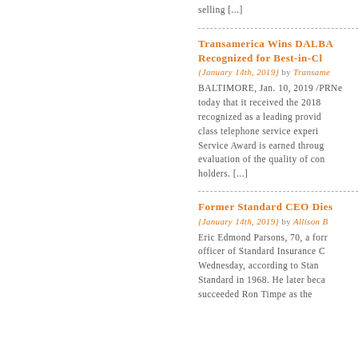selling [...]
Transamerica Wins DALBA Recognized for Best-in-Cl
{January 14th, 2019} by Transame
BALTIMORE, Jan. 10, 2019 /PRNe today that it received the 2018 recognized as a leading provid class telephone service experi Service Award is earned throug evaluation of the quality of con holders. [...]
Former Standard CEO Dies
{January 14th, 2019} by Allison B
Eric Edmond Parsons, 70, a forr officer of Standard Insurance C Wednesday, according to Stan Standard in 1968. He later beca succeeded Ron Timpe as the